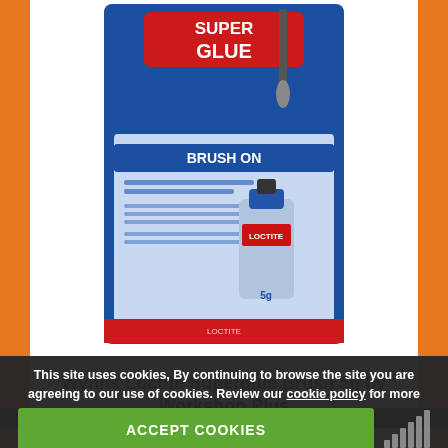[Figure (photo): Product photo of Wynns Loctite Superglue Brush On 5g on blue packaging card]
Wynns Loctite Superglue Brush 5g by Workshop Plus
£4.80
- 1 + ADD TO BASKET
This site uses cookies, By continuing to browse the site you are agreeing to our use of cookies. Review our cookie policy for more details.
ACCEPT COOKIES